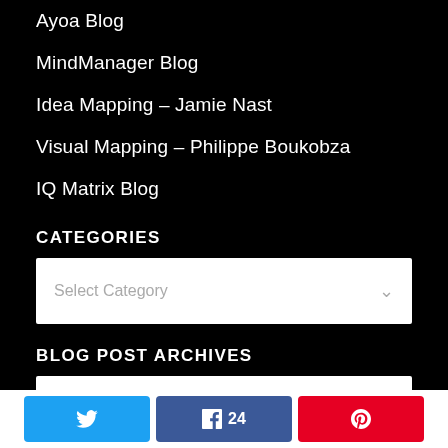Ayoa Blog
MindManager Blog
Idea Mapping - Jamie Nast
Visual Mapping - Philippe Boukobza
IQ Matrix Blog
CATEGORIES
Select Category
BLOG POST ARCHIVES
Select Month